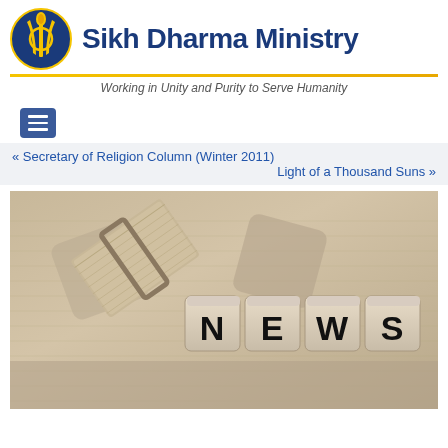Sikh Dharma Ministry — Working in Unity and Purity to Serve Humanity
« Secretary of Religion Column (Winter 2011)
Light of a Thousand Suns »
[Figure (photo): Sepia-toned photo of letter dice spelling NEWS on a surface, with a rolled-up newspaper tied with twine in the background.]